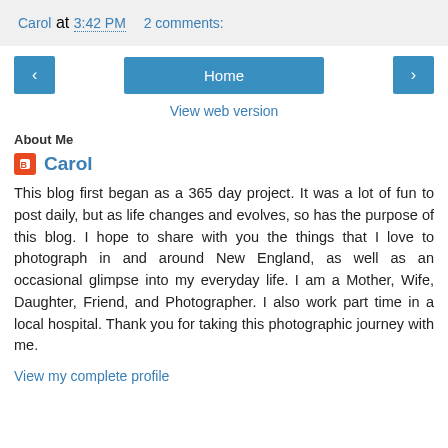Carol at 3:42 PM   2 comments:
[Figure (screenshot): Navigation buttons: left arrow, Home, right arrow]
View web version
About Me
Carol
This blog first began as a 365 day project. It was a lot of fun to post daily, but as life changes and evolves, so has the purpose of this blog. I hope to share with you the things that I love to photograph in and around New England, as well as an occasional glimpse into my everyday life. I am a Mother, Wife, Daughter, Friend, and Photographer. I also work part time in a local hospital. Thank you for taking this photographic journey with me.
View my complete profile